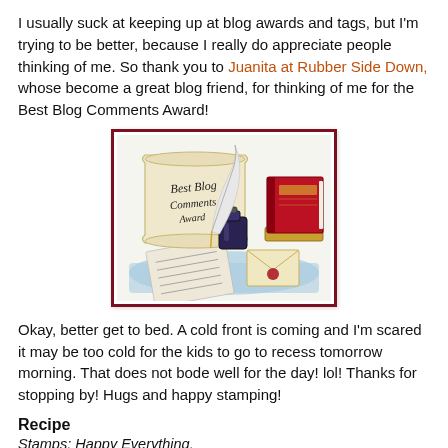I usually suck at keeping up at blog awards and tags, but I'm trying to be better, because I really do appreciate people thinking of me. So thank you to Juanita at Rubber Side Down, whose become a great blog friend, for thinking of me for the Best Blog Comments Award!
[Figure (illustration): Best Blog Comments Award illustration showing a scroll with the text 'Best Blog Comments Award', a quill pen in an ink bottle, a red book, loose papers, and an envelope on a blue surface, all within a dark red border.]
Okay, better get to bed. A cold front is coming and I'm scared it may be too cold for the kids to go to recess tomorrow morning. That does not bode well for the day! lol! Thanks for stopping by! Hugs and happy stamping!
Recipe
Stamps: Happy Everything.